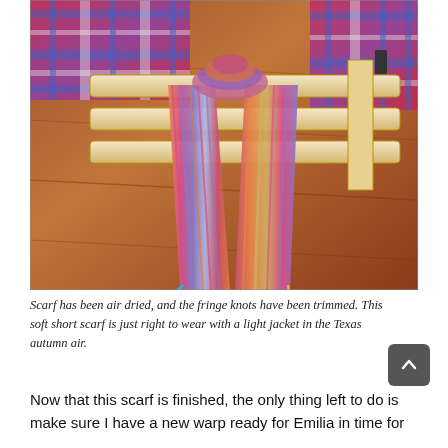[Figure (photo): A colorful handwoven scarf with twisted fringe laid across a wooden table next to a loom. The scarf has stripes of pink, blue, orange, and purple with multicolored twisted fringe at both ends.]
Scarf has been air dried, and the fringe knots have been trimmed. This soft short scarf is just right to wear with a light jacket in the Texas autumn air.
Now that this scarf is finished, the only thing left to do is make sure I have a new warp ready for Emilia in time for